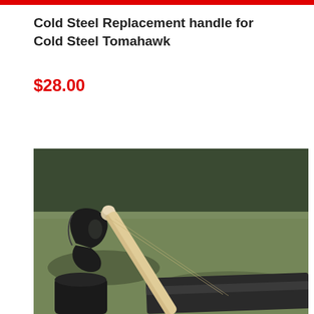Cold Steel Replacement handle for Cold Steel Tomahawk
$28.00
[Figure (photo): A tomahawk axe with a light wood handle resting on a wooden fence rail, with grass and trees in the background outdoors.]